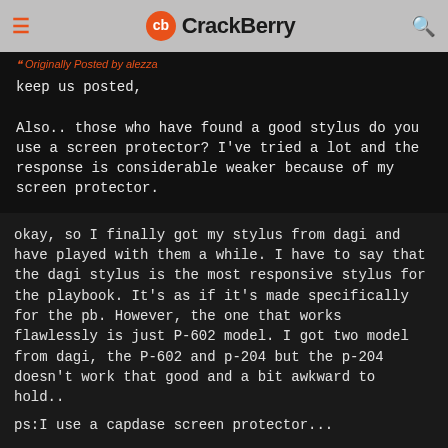CrackBerry
Originally Posted by alezza
keep us posted,

Also.. those who have found a good stylus do you use a screen protector? I've tried a lot and the response is considerable weaker because of my screen protector.
okay, so I finally got my stylus from dagi and have played with them a while. I have to say that the dagi stylus is the most responsive stylus for the playbook. It's as if it's made specifically for the pb. However, the one that works flawlessly is just P-602 model. I got two model from dagi, the P-602 and p-204 but the p-204 doesn't work that good and a bit awkward to hold..
ps:I use a capdase screen protector...
12-23-11 10:52 AM